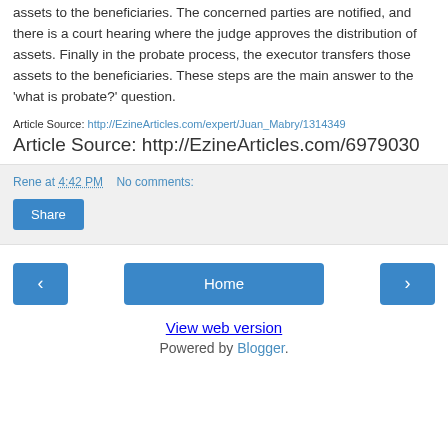assets to the beneficiaries. The concerned parties are notified, and there is a court hearing where the judge approves the distribution of assets. Finally in the probate process, the executor transfers those assets to the beneficiaries. These steps are the main answer to the 'what is probate?' question.
Article Source: http://EzineArticles.com/expert/Juan_Mabry/1314349
Article Source: http://EzineArticles.com/6979030
Rene at 4:42 PM   No comments:
Share
‹
Home
›
View web version
Powered by Blogger.